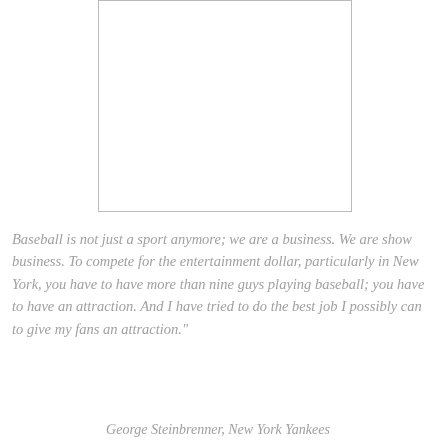[Figure (other): A blank white rectangular image placeholder with a thin border]
Baseball is not just a sport anymore; we are a business. We are show business. To compete for the entertainment dollar, particularly in New York, you have to have more than nine guys playing baseball; you have to have an attraction. And I have tried to do the best job I possibly can to give my fans an attraction."
George Steinbrenner, New York Yankees